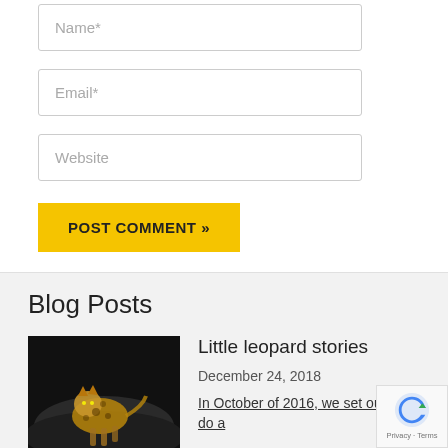Name*
Email*
Website
POST COMMENT »
Blog Posts
[Figure (photo): Dark photo of a leopard cub on a rock surface at night]
Little leopard stories
December 24, 2018
In October of 2016, we set out to do a